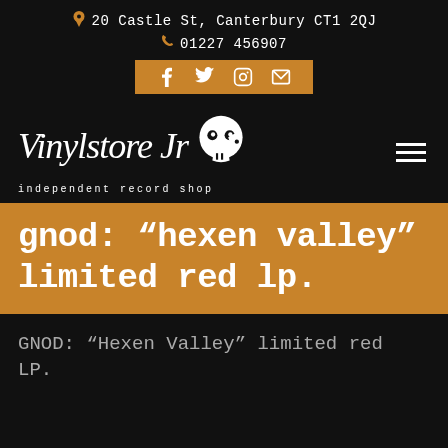📍 20 Castle St, Canterbury CT1 2QJ  📞 01227 456907
[Figure (logo): Vinylstore Jr independent record shop logo with skull mascot and social media icons bar (f, twitter bird, instagram, envelope) on orange background]
gnod: “hexen valley” limited red lp.
GNOD: “Hexen Valley” limited red LP.